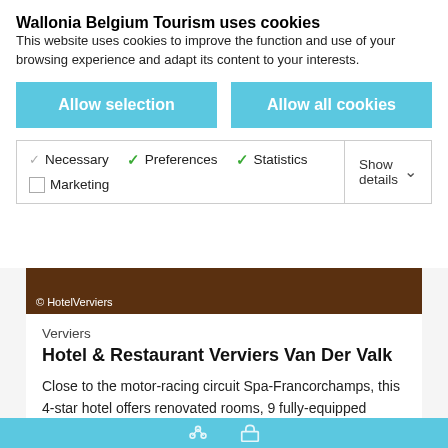Wallonia Belgium Tourism uses cookies
This website uses cookies to improve the function and use of your browsing experience and adapt its content to your interests.
Allow selection
Allow all cookies
Necessary  Preferences  Statistics  Marketing  Show details
© HotelVerviers
Verviers
Hotel & Restaurant Verviers Van Der Valk
Close to the motor-racing circuit Spa-Francorchamps, this 4-star hotel offers renovated rooms, 9 fully-equipped conference rooms, a car park and swimming pool.